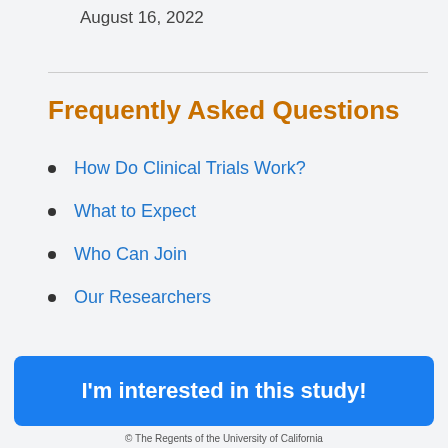August 16, 2022
Frequently Asked Questions
How Do Clinical Trials Work?
What to Expect
Who Can Join
Our Researchers
I'm interested in this study!
© The Regents of the University of California